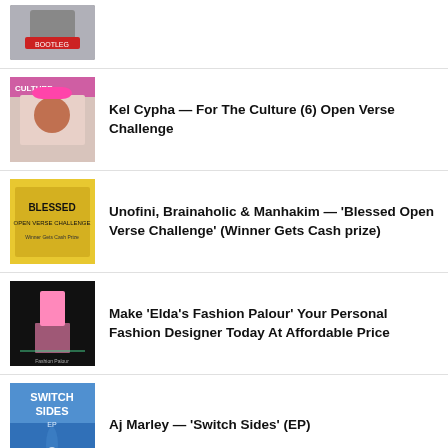[Figure (photo): Partial thumbnail of a person with red hat/cap, cropped at top]
Kel Cypha — For The Culture (6) Open Verse Challenge
Unofini, Brainaholic & Manhakim — 'Blessed Open Verse Challenge' (Winner Gets Cash prize)
Make 'Elda's Fashion Palour' Your Personal Fashion Designer Today At Affordable Price
Aj Marley — 'Switch Sides' (EP)
[Figure (photo): Partial dark thumbnail at bottom, cropped]